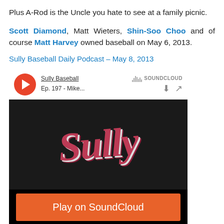Plus A-Rod is the Uncle you hate to see at a family picnic.
Scott Diamond, Matt Wieters, Shin-Soo Choo and of course Matt Harvey owned baseball on May 6, 2013.
Sully Baseball Daily Podcast – May 8, 2013
[Figure (screenshot): SoundCloud podcast player widget showing 'Sully Baseball' episode 197 with play button, download and share icons, 'Play on SoundCloud' orange button, and 'Listen in browser' button over a dark background with stylized 'Sully' logo artwork.]